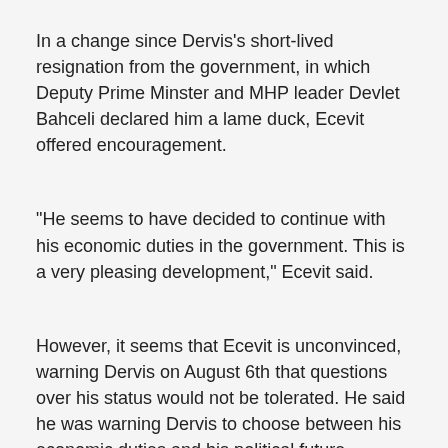In a change since Dervis's short-lived resignation from the government, in which Deputy Prime Minster and MHP leader Devlet Bahceli declared him a lame duck, Ecevit offered encouragement.
"He seems to have decided to continue with his economic duties in the government. This is a very pleasing development," Ecevit said.
However, it seems that Ecevit is unconvinced, warning Dervis on August 6th that questions over his status would not be tolerated. He said he was warning Dervis to choose between his economic duties and his political future.